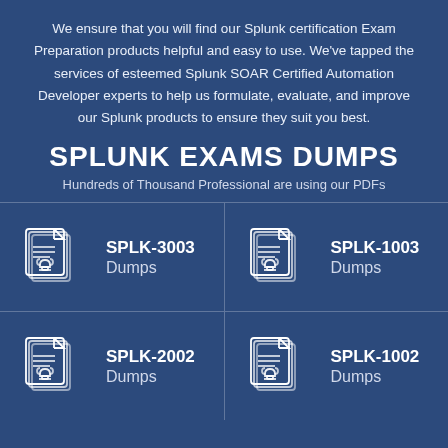We ensure that you will find our Splunk certification Exam Preparation products helpful and easy to use. We've tapped the services of esteemed Splunk SOAR Certified Automation Developer experts to help us formulate, evaluate, and improve our Splunk products to ensure they suit you best.
SPLUNK EXAMS DUMPS
Hundreds of Thousand Professional are using our PDFs
SPLK-3003 Dumps
SPLK-1003 Dumps
SPLK-2002 Dumps
SPLK-1002 Dumps